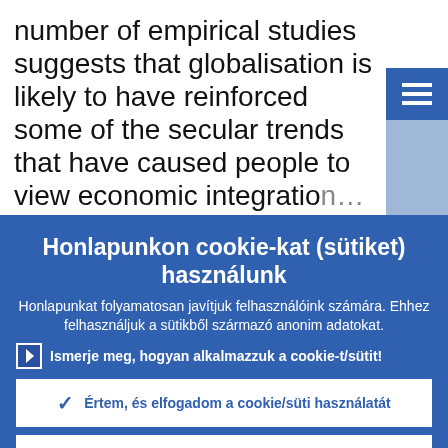number of empirical studies suggests that globalisation is likely to have reinforced some of the secular trends that have caused people to view economic integration
Honlapunkon cookie-kat (sütiket) használunk
Honlapunkat folyamatosan javítjuk felhasználóink számára. Ehhez felhasználjuk a sütikből származó anonim adatokat.
Ismerje meg, hogyan alkalmazzuk a cookie-t/sütit!
Értem, és elfogadom a cookie/süti használatát
Visszautasítom a cookie/süti használatát